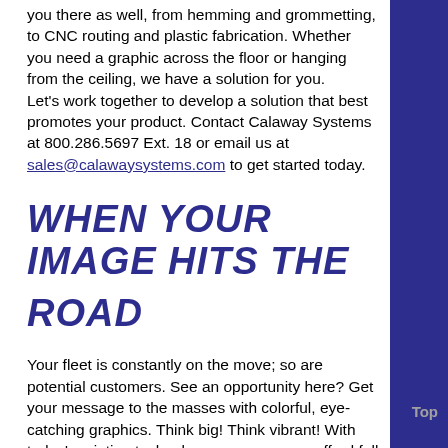you there as well, from hemming and grommetting, to CNC routing and plastic fabrication. Whether you need a graphic across the floor or hanging from the ceiling, we have a solution for you.
Let's work together to develop a solution that best promotes your product. Contact Calaway Systems at 800.286.5697 Ext. 18 or email us at sales@calawaysystems.com to get started today.
WHEN YOUR IMAGE HITS THE ROAD
Your fleet is constantly on the move; so are potential customers. See an opportunity here? Get your message to the masses with colorful, eye-catching graphics. Think big! Think vibrant! With today's printing technology, everyone can afford full color graphics whether it's a fleet of one or thousands.
We work with some of the largest fleets in the U.S.